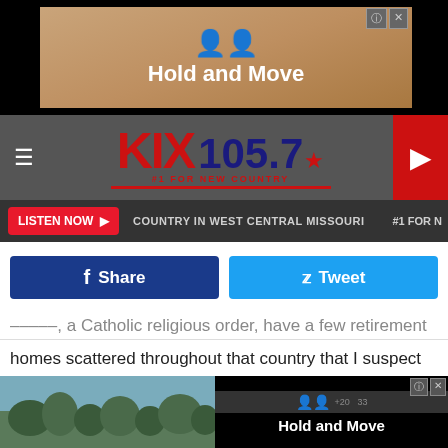[Figure (screenshot): Advertisement banner: Hold and Move with people icon, on striped background]
[Figure (logo): KIX 105.7 #1 FOR NEW COUNTRY radio station logo in red and dark blue]
[Figure (screenshot): Navigation bar with LISTEN NOW button, COUNTRY IN WEST CENTRAL MISSOURI tagline, #1 FOR label]
[Figure (screenshot): Facebook Share and Twitter Tweet social buttons]
...order, a Catholic religious order, have a few retirement homes scattered throughout that country that I suspect are somewhat similar to the Missouri Veteran's Home in Warrensburg.
My uncle lived in a Jesuit retirement community with many of the same gentlemen he crossed paths with through his journey as a Catholic Jesuit Priest. These men went to school [similar experiences] at
[Figure (screenshot): Bottom overlay advertisement: Hold and Move with outdoor photo background, close button]